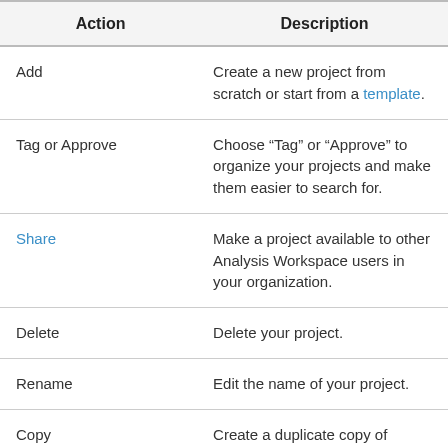| Action | Description |
| --- | --- |
| Add | Create a new project from scratch or start from a template. |
| Tag or Approve | Choose "Tag" or "Approve" to organize your projects and make them easier to search for. |
| Share | Make a project available to other Analysis Workspace users in your organization. |
| Delete | Delete your project. |
| Rename | Edit the name of your project. |
| Copy | Create a duplicate copy of |